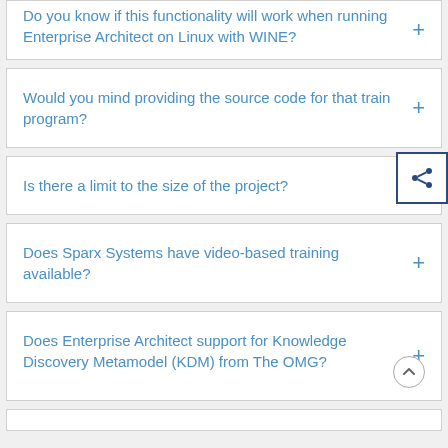Do you know if this functionality will work when running Enterprise Architect on Linux with WINE?
Would you mind providing the source code for that train program?
Is there a limit to the size of the project?
Does Sparx Systems have video-based training available?
Does Enterprise Architect support for Knowledge Discovery Metamodel (KDM) from The OMG?